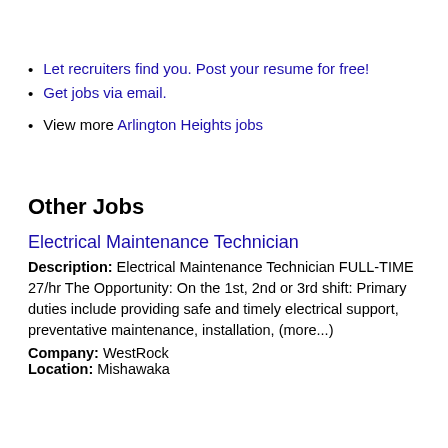Let recruiters find you. Post your resume for free!
Get jobs via email.
View more Arlington Heights jobs
Other Jobs
Electrical Maintenance Technician
Description: Electrical Maintenance Technician FULL-TIME 27/hr The Opportunity: On the 1st, 2nd or 3rd shift: Primary duties include providing safe and timely electrical support, preventative maintenance, installation, (more...)
Company: WestRock
Location: Mishawaka